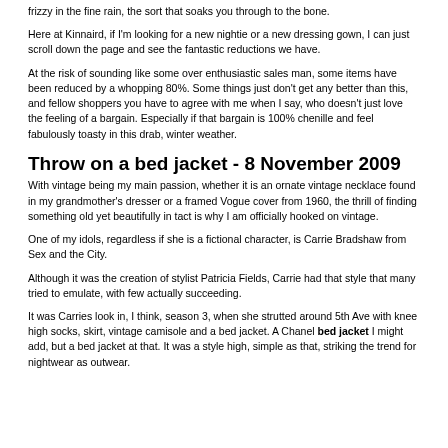frizzy in the fine rain, the sort that soaks you through to the bone.
Here at Kinnaird, if I'm looking for a new nightie or a new dressing gown, I can just scroll down the page and see the fantastic reductions we have.
At the risk of sounding like some over enthusiastic sales man, some items have been reduced by a whopping 80%. Some things just don't get any better than this, and fellow shoppers you have to agree with me when I say, who doesn't just love the feeling of a bargain. Especially if that bargain is 100% chenille and feel fabulously toasty in this drab, winter weather.
Throw on a bed jacket - 8 November 2009
With vintage being my main passion, whether it is an ornate vintage necklace found in my grandmother's dresser or a framed Vogue cover from 1960, the thrill of finding something old yet beautifully in tact is why I am officially hooked on vintage.
One of my idols, regardless if she is a fictional character, is Carrie Bradshaw from Sex and the City.
Although it was the creation of stylist Patricia Fields, Carrie had that style that many tried to emulate, with few actually succeeding.
It was Carries look in, I think, season 3, when she strutted around 5th Ave with knee high socks, skirt, vintage camisole and a bed jacket. A Chanel bed jacket I might add, but a bed jacket at that. It was a style high, simple as that, striking the trend for nightwear as outwear.